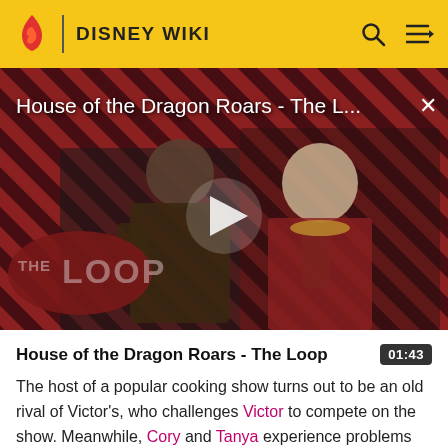DISNEY WIKI
[Figure (screenshot): Video thumbnail for 'House of the Dragon Roars - The Loop' showing two characters from the show against a red and black diagonal striped background with a play button overlay and 'THE LOOP' text badge in the lower left]
House of the Dragon Roars - The Loop
The host of a popular cooking show turns out to be an old rival of Victor's, who challenges Victor to compete on the show. Meanwhile, Cory and Tanya experience problems